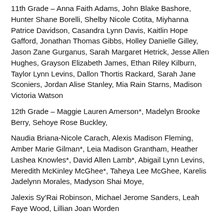11th Grade – Anna Faith Adams, John Blake Bashore, Hunter Shane Borelli, Shelby Nicole Cotita, Miyhanna Patrice Davidson, Casandra Lynn Davis, Kaitlin Hope Gafford, Jonathan Thomas Gibbs, Holley Danielle Gilley, Jason Zane Gurganus, Sarah Margaret Hetrick, Jesse Allen Hughes, Grayson Elizabeth James, Ethan Riley Kilburn, Taylor Lynn Levins, Dallon Thortis Rackard, Sarah Jane Sconiers, Jordan Alise Stanley, Mia Rain Starns, Madison Victoria Watson
12th Grade – Maggie Lauren Amerson*, Madelyn Brooke Berry, Sehoye Rose Buckley,
Naudia Briana-Nicole Carach, Alexis Madison Fleming, Amber Marie Gilman*, Leia Madison Grantham, Heather Lashea Knowles*, David Allen Lamb*, Abigail Lynn Levins, Meredith McKinley McGhee*, Taheya Lee McGhee, Karelis Jadelynn Morales, Madyson Shai Moye,
Jalexis Sy'Rai Robinson, Michael Jerome Sanders, Leah Faye Wood, Lillian Joan Worden